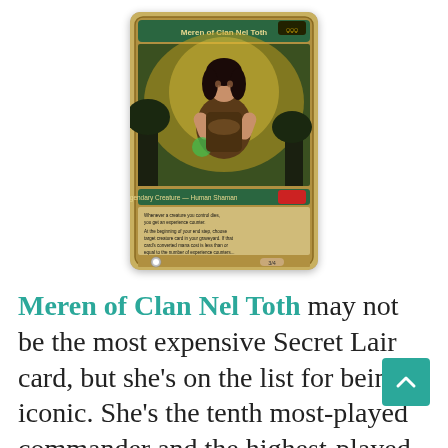[Figure (illustration): Magic: The Gathering card named 'Meren of Clan Nel Toth' with gold/green border. Shows a female warrior character with dark hair in a fantasy swamp setting. Card text reads: Legendary Creature - Human Shaman. Whenever a creature you control dies, you get an experience counter. At the beginning of your end step, choose target creature card in your graveyard. If that card's converted mana cost is less than or equal to the number of experience counters you have, return it to the battlefield. Otherwise, put a +1/+1 counter on it. Power/toughness 3/4.]
Meren of Clan Nel Toth may not be the most expensive Secret Lair card, but she's on the list for being iconic. She's the tenth most-played commander and the highest-played Golgari commander by a longshot. Additionally, there's so much to love about this version, from its gorgeous color